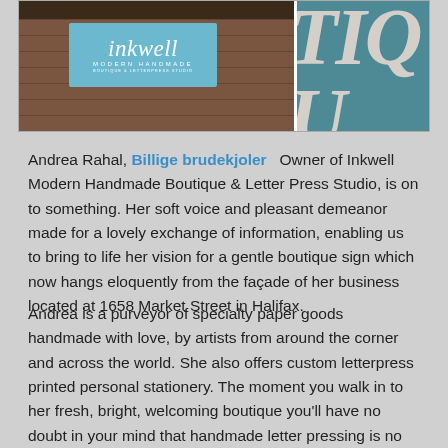[Figure (photo): Two photos side by side: left shows the Inkwell Modern Handmade boutique sign (blue/teal rectangular sign with script 'inkwell' and 'MODERN HANDMADE' text) mounted on a brick building facade; right shows a partial teal sign with letters 'TIQ' visible.]
Andrea Rahal, Billige brudekjoler   Owner of Inkwell Modern Handmade Boutique & Letter Press Studio, is on to something.  Her soft voice and pleasant demeanor made for a lovely exchange of information, enabling us to bring to life her vision for a gentle boutique sign which now hangs eloquently from the façade of her business located at 1658 Market Street in Halifax.
Andrea is a purveyor of specialty paper goods handmade with love, by artists from around the corner and across the world. She also offers custom letterpress printed personal stationery.  The moment you walk in to her fresh, bright, welcoming boutique you'll have no doubt in your mind that handmade letter pressing is no lost art; but one that is vibrantly present in our city, and we're lucky for that.